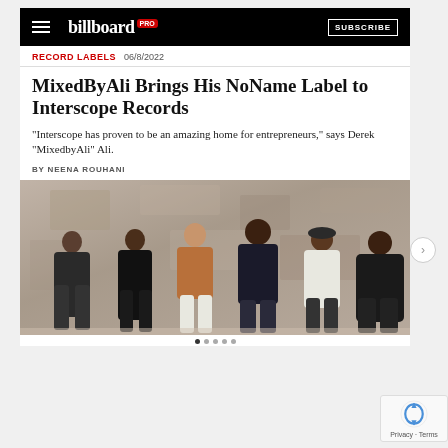[Figure (screenshot): Billboard Pro website header with hamburger menu, Billboard logo with 'pro' badge, and SUBSCRIBE button on black background]
RECORD LABELS  06/8/2022
MixedByAli Brings His NoName Label to Interscope Records
"Interscope has proven to be an amazing home for entrepreneurs," says Derek "MixedbyAli" Ali.
BY NEENA ROUHANI
[Figure (photo): Group photo of six people standing in front of a weathered concrete wall. From left: man in dark t-shirt, woman in black outfit, man in brown leather jacket and white pants, man in black patterned outfit, man in white shirt and cap, heavier man in black on the right.]